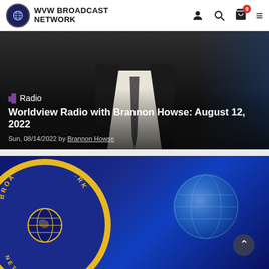WVW BROADCAST NETWORK
[Figure (photo): Man in dark suit and tie from neck down, dark blue blurred background, article card for Worldview Radio]
Radio
Worldview Radio with Brannon Howse: August 12, 2022
Sun, 08/14/2022 by Brannon Howse
[Figure (photo): WVW Broadcast Network circular logo badge with gold ring on dark blue background, globe graphic on right side]